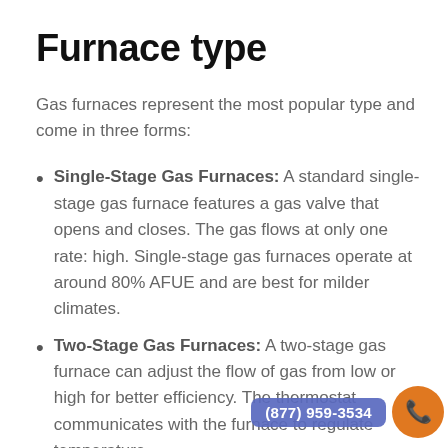Furnace type
Gas furnaces represent the most popular type and come in three forms:
Single-Stage Gas Furnaces: A standard single-stage gas furnace features a gas valve that opens and closes. The gas flows at only one rate: high. Single-stage gas furnaces operate at around 80% AFUE and are best for milder climates.
Two-Stage Gas Furnaces: A two-stage gas furnace can adjust the flow of gas from low or high for better efficiency. The thermostat communicates with the furnace to regulate temperature.